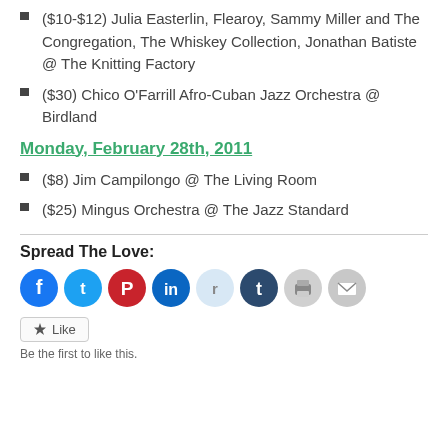($10-$12) Julia Easterlin, Flearoy, Sammy Miller and The Congregation, The Whiskey Collection, Jonathan Batiste @ The Knitting Factory
($30) Chico O'Farrill Afro-Cuban Jazz Orchestra @ Birdland
Monday, February 28th, 2011
($8) Jim Campilongo @ The Living Room
($25) Mingus Orchestra @ The Jazz Standard
Spread The Love:
[Figure (other): Social sharing icons: Facebook, Twitter, Pinterest, LinkedIn, Reddit, Tumblr, Print, Email]
Like
Be the first to like this.